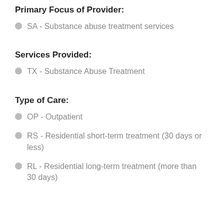Primary Focus of Provider:
SA - Substance abuse treatment services
Services Provided:
TX - Substance Abuse Treatment
Type of Care:
OP - Outpatient
RS - Residential short-term treatment (30 days or less)
RL - Residential long-term treatment (more than 30 days)